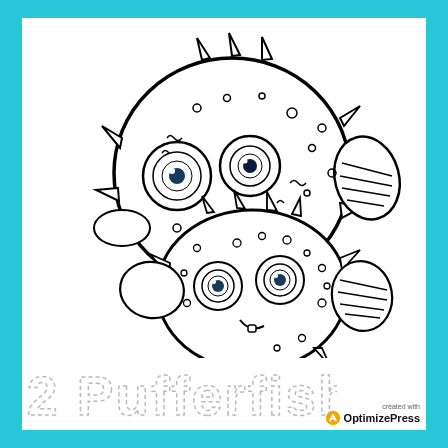[Figure (illustration): Coloring page illustration of two cartoon pufferfish (blowfish). The larger pufferfish is at the top with spines, circular spots, two large eyes, a fin on the right, and a small fin on the left. A smaller pufferfish is below it, also with spines, circular spots, two large eyes, a smiling face, and fins on both sides. Both are drawn in black outline on white background, designed for children to color.]
2 Pufferfish
created with OptimizePress